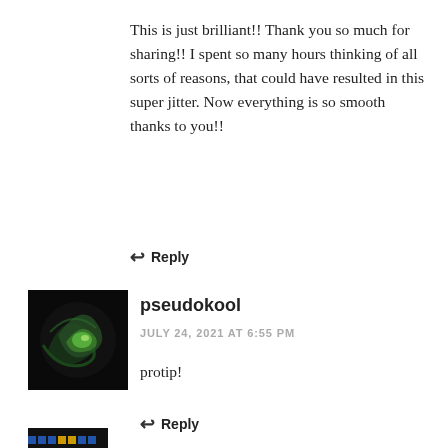This is just brilliant!! Thank you so much for sharing!! I spent so many hours thinking of all sorts of reasons, that could have resulted in this super jitter. Now everything is so smooth thanks to you!!
↩ Reply
[Figure (photo): User avatar for pseudokool — dark green swirling pattern on black background]
pseudokool
JULY 24, 2021 AT 6:55 PM
protip!
↩ Reply